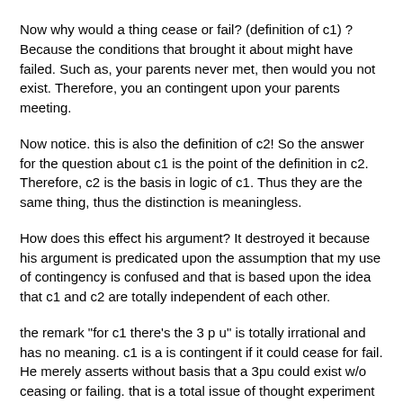Now why would a thing cease or fail? (definition of c1) ? Because the conditions that brought it about might have failed. Such as, your parents never met, then would you not exist. Therefore, you an contingent upon your parents meeting.
Now notice. this is also the definition of c2! So the answer for the question about c1 is the point of the definition in c2. Therefore, c2 is the basis in logic of c1. Thus they are the same thing, thus the distinction is meaningless.
How does this effect his argument? It destroyed it because his argument is predicated upon the assumption that my use of contingency is confused and that is based upon the idea that c1 and c2 are totally independent of each other.
the remark "for c1 there's the 3 p u" is totally irrational and has no meaning. c1 is a is contingent if it could cease for fail. He merely asserts without basis that a 3pu could exist w/o ceasing or failing. that is a total issue of thought experiment in argument. That's nothing more than asserting facts in not in evidence.
and the second reason that the notion of no definite beginning is illogical